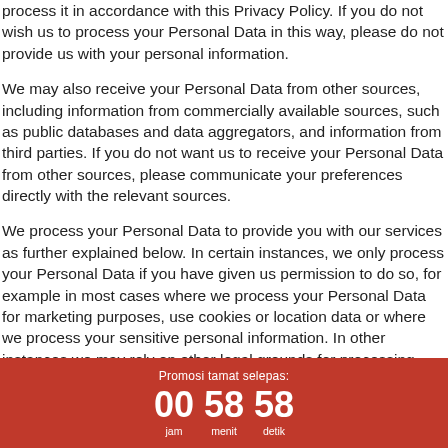process it in accordance with this Privacy Policy. If you do not wish us to process your Personal Data in this way, please do not provide us with your personal information.
We may also receive your Personal Data from other sources, including information from commercially available sources, such as public databases and data aggregators, and information from third parties. If you do not want us to receive your Personal Data from other sources, please communicate your preferences directly with the relevant sources.
We process your Personal Data to provide you with our services as further explained below. In certain instances, we only process your Personal Data if you have given us permission to do so, for example in most cases where we process your Personal Data for marketing purposes, use cookies or location data or where we process your sensitive personal information. In other instances we may rely on other legal grounds for processing your personal
Promosi tamat selepas: 00 jam 58 menit 58 detik